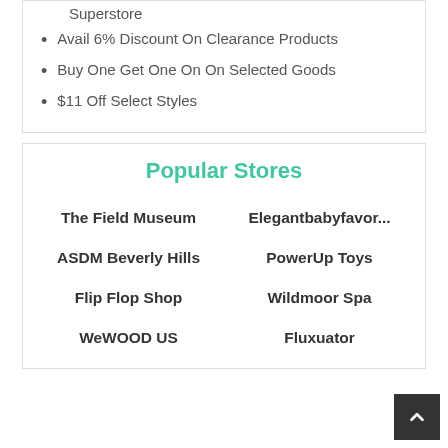Superstore
Avail 6% Discount On Clearance Products
Buy One Get One On On Selected Goods
$11 Off Select Styles
Popular Stores
The Field Museum
Elegantbabyfavor...
ASDM Beverly Hills
PowerUp Toys
Flip Flop Shop
Wildmoor Spa
WeWOOD US
Fluxuator